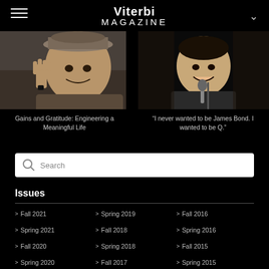Viterbi MAGAZINE
[Figure (photo): Person smiling, holding up a hand, wearing a cap, outdoors]
Gains and Gratitude: Engineering a Meaningful Life
[Figure (photo): Person in a suit at a microphone on stage]
“I never wanted to be James Bond. I wanted to be Q.”
Search
Issues
Fall 2021
Spring 2021
Fall 2020
Spring 2020
Fall 2019
Spring 2019
Fall 2018
Spring 2018
Fall 2017
Spring 2017
Fall 2016
Spring 2016
Fall 2015
Spring 2015
Fall 2014